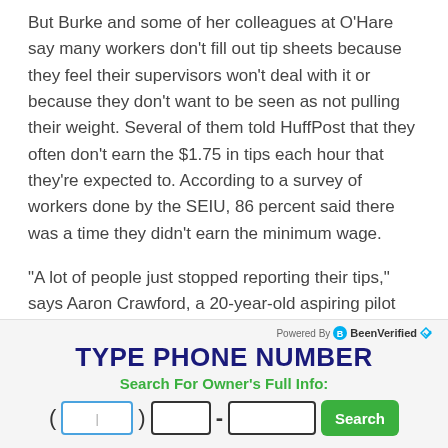But Burke and some of her colleagues at O'Hare say many workers don't fill out tip sheets because they feel their supervisors won't deal with it or because they don't want to be seen as not pulling their weight. Several of them told HuffPost that they often don't earn the $1.75 in tips each hour that they're expected to. According to a survey of workers done by the SEIU, 86 percent said there was a time they didn't earn the minimum wage.
“A lot of people just stopped reporting their tips,” says Aaron Crawford, a 20-year-old aspiring pilot who takes public transit to O’Hare from Chicago’s South Side for each shift with the wheelchair. “They know it won’t be taken care of.”
Someone also attributes their low wages to the fact that they need...
[Figure (infographic): BeenVerified advertisement with phone number search form. Shows 'Powered By BeenVerified' logo, large headline 'TYPE PHONE NUMBER', subtitle 'Search For Owner's Full Info:', phone number input fields with area code, exchange, number, and a green Search button.]